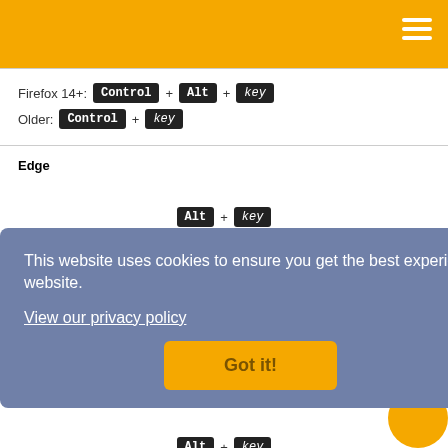Firefox 14+: Control + Alt + key
Older: Control + key
Edge
Alt + key
N/A
Internet Explorer
Alt + key
N/A
Google Chrome
Alt + key
This website uses cookies to ensure you get the best experience on our website.
View our privacy policy
Got it!